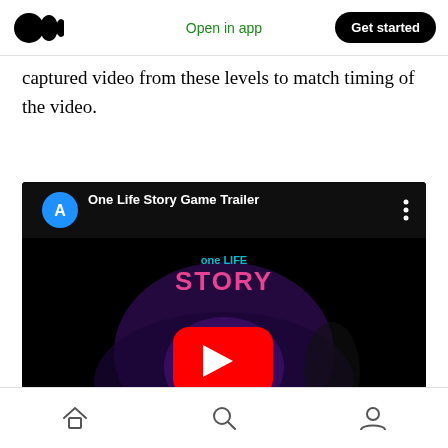Medium logo | Open in app | Get started
captured video from these levels to match timing of the video.
[Figure (screenshot): YouTube video embed showing 'One Life Story Game Trailer' with a blue avatar icon, video title, three-dot menu, and a YouTube play button over a dark purple/black game scene with 'one LIFE STORY' text overlay.]
Home | Search | Profile navigation icons